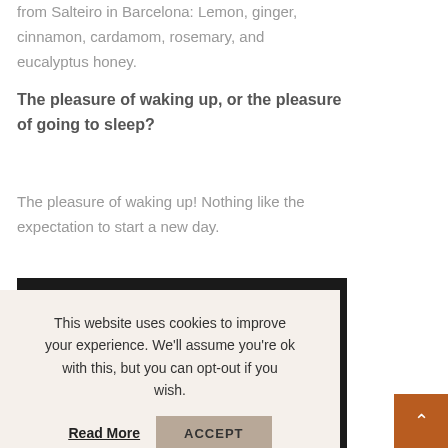from Salteiro in Barcelona: Lemon, ginger, cinnamon, cardamom, rosemary, and eucalyptus honey.
The pleasure of waking up, or the pleasure of going to sleep?
The pleasure of waking up! Nothing like the expectation to start a new day.
[Figure (screenshot): Dark video player embed showing a partially visible video with three vertical dots menu icon and a progress bar at the bottom]
This website uses cookies to improve your experience. We'll assume you're ok with this, but you can opt-out if you wish. Read More ACCEPT
In the summer: blanket or no blanket?